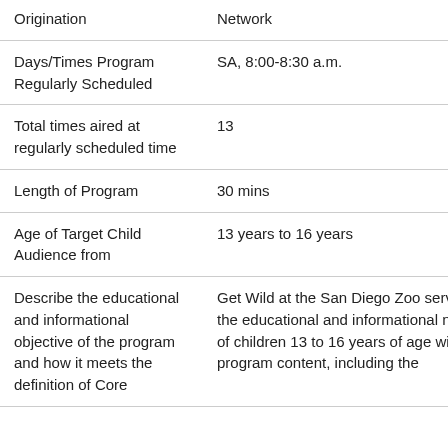| Field | Value |
| --- | --- |
| Origination | Network |
| Days/Times Program Regularly Scheduled | SA, 8:00-8:30 a.m. |
| Total times aired at regularly scheduled time | 13 |
| Length of Program | 30 mins |
| Age of Target Child Audience from | 13 years to 16 years |
| Describe the educational and informational objective of the program and how it meets the definition of Core | Get Wild at the San Diego Zoo serves the educational and informational needs of children 13 to 16 years of age with its program content, including the |